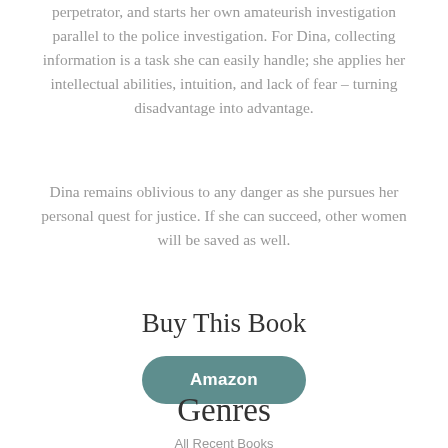perpetrator, and starts her own amateurish investigation parallel to the police investigation. For Dina, collecting information is a task she can easily handle; she applies her intellectual abilities, intuition, and lack of fear – turning disadvantage into advantage.
Dina remains oblivious to any danger as she pursues her personal quest for justice. If she can succeed, other women will be saved as well.
Buy This Book
[Figure (other): Amazon button - a rounded rectangular button with teal/muted green background and white bold text reading 'Amazon']
Genres
All Recent Books